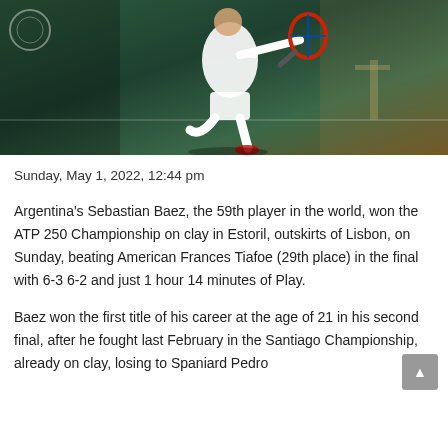[Figure (photo): Tennis player in white outfit hitting a shot on a green clay court, with a red and blue racket, crowd and dark green background visible]
Sunday, May 1, 2022, 12:44 pm
Argentina's Sebastian Baez, the 59th player in the world, won the ATP 250 Championship on clay in Estoril, outskirts of Lisbon, on Sunday, beating American Frances Tiafoe (29th place) in the final with 6-3 6-2 and just 1 hour 14 minutes of Play.
Baez won the first title of his career at the age of 21 in his second final, after he fought last February in the Santiago Championship, already on clay, losing to Spaniard Pedro